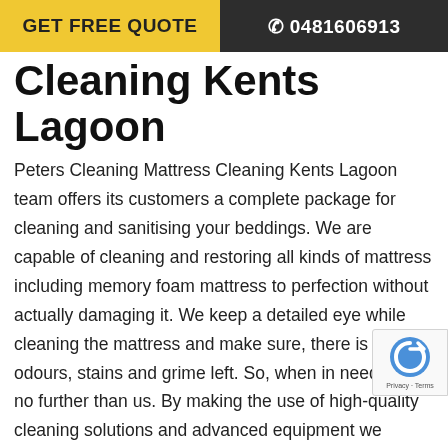GET FREE QUOTE   ☎ 0481606913
Cleaning Kents Lagoon
Peters Cleaning Mattress Cleaning Kents Lagoon team offers its customers a complete package for cleaning and sanitising your beddings. We are capable of cleaning and restoring all kinds of mattress including memory foam mattress to perfection without actually damaging it. We keep a detailed eye while cleaning the mattress and make sure, there is no bad odours, stains and grime left. So, when in need look no further than us. By making the use of high-quality cleaning solutions and advanced equipment we deliver you the best results for mattress cleaning, sanitising and disinfecting.